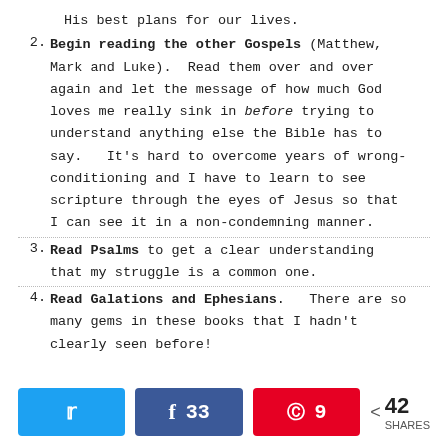His best plans for our lives.
2. Begin reading the other Gospels (Matthew, Mark and Luke). Read them over and over again and let the message of how much God loves me really sink in before trying to understand anything else the Bible has to say. It's hard to overcome years of wrong-conditioning and I have to learn to see scripture through the eyes of Jesus so that I can see it in a non-condemning manner.
3. Read Psalms to get a clear understanding that my struggle is a common one.
4. Read Galations and Ephesians. There are so many gems in these books that I hadn't clearly seen before!